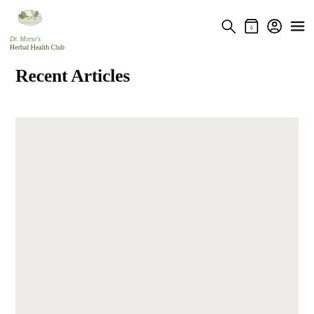Dr. Morse's Herbal Health Club
Recent Articles
[Figure (illustration): Light gray placeholder image area for article thumbnail]